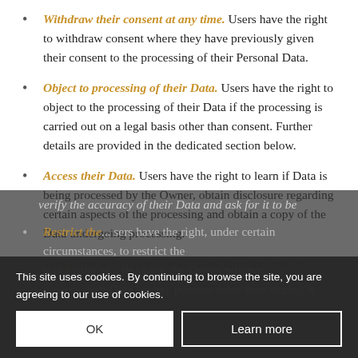Withdraw their consent at any time. Users have the right to withdraw consent where they have previously given their consent to the processing of their Personal Data.
Object to processing of their Data. Users have the right to object to the processing of their Data if the processing is carried out on a legal basis other than consent. Further details are provided in the dedicated section below.
Access their Data. Users have the right to learn if Data is being processed by the Owner, obtain disclosure regarding certain aspects of the processing and obtain a copy of the Data undergoing processing.
Verify and seek rectification. Users have the right to verify the accuracy of their Data and ask for it to be
Restrict the... Users have the right, under certain circumstances, to restrict the processing of... this case, the Owner will not process their Data for any purpose other than storing it
This site uses cookies. By continuing to browse the site, you are agreeing to our use of cookies.